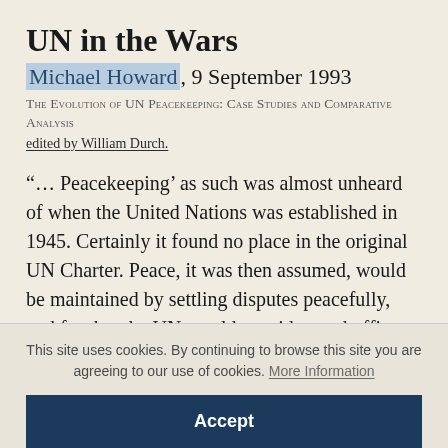UN in the Wars
Michael Howard, 9 September 1993
The Evolution of UN Peacekeeping: Case Studies and Comparative Analysis
edited by William Durch.
“… Peacekeeping’ as such was almost unheard of when the United Nations was established in 1945. Certainly it found no place in the original UN Charter. Peace, it was then assumed, would be maintained by settling disputes peacefully, and for that the UN would provide good offices under
This site uses cookies. By continuing to browse this site you are agreeing to our use of cookies. More Information
Accept